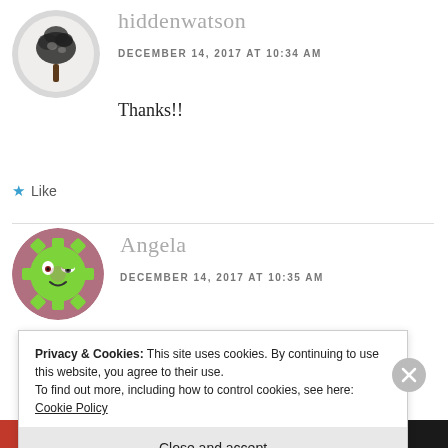[Figure (illustration): Circular avatar with tree drawing (black tree on white/grey background) for user hiddenwatson]
hiddenwatson
DECEMBER 14, 2017 AT 10:34 AM
Thanks!!
★ Like
[Figure (illustration): Circular avatar with green gear/cog smiley face on pink/mauve background for user Angela]
Angela
DECEMBER 14, 2017 AT 10:35 AM
Privacy & Cookies: This site uses cookies. By continuing to use this website, you agree to their use.
To find out more, including how to control cookies, see here: Cookie Policy
Close and accept